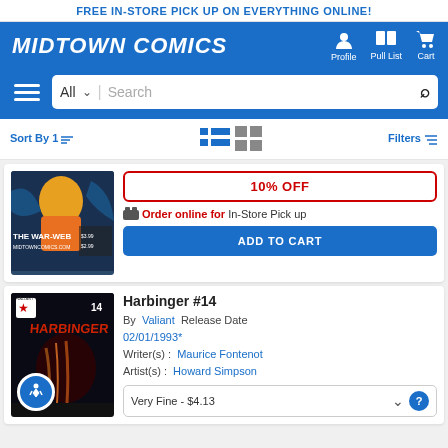FREE IN-STORE PICK UP ON EVERYTHING ONLINE!
[Figure (logo): Midtown Comics logo with nav icons for Profile, Pull List, Cart]
[Figure (screenshot): Search bar with All dropdown and search field]
Sort By | [list/grid view icons] | Filters
[Figure (photo): The War-Web comic book cover image]
10% OFF
Order online for In-Store Pick up
ADD TO CART
Harbinger #14
By Valiant Release Date 02/01/1993*
Writer(s): Maurice Fontenot
Artist(s): Howard Simpson
Very Fine - $4.13
[Figure (photo): Harbinger #14 comic book cover]